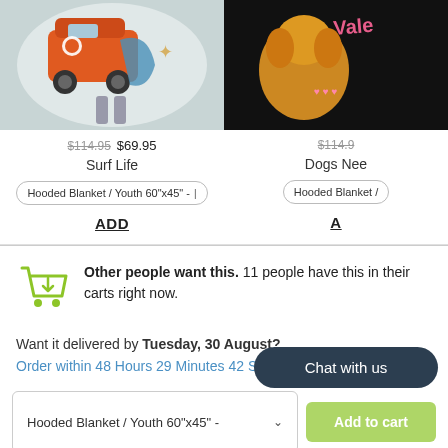[Figure (photo): Hooded blanket product photo showing surf life VW van design on light blue background, person wearing it]
$114.95 $69.95
Surf Life
Hooded Blanket / Youth 60"x45" -
ADD
[Figure (photo): Hooded blanket product photo showing dogs/valentine design on black background]
$114.9
Dogs Nee
Hooded Blanket /
A
Other people want this. 11 people have this in their carts right now.
Want it delivered by Tuesday, 30 August?
Order within 48 Hours 29 Minutes 42 S
Hooded Blanket / Youth 60"x45" -
Add to cart
Chat with us